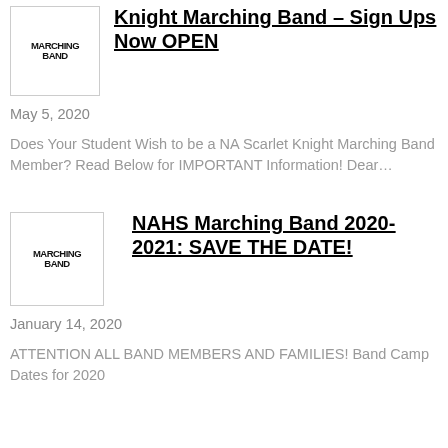[Figure (logo): Marching Band logo image thumbnail in a bordered box]
Knight Marching Band – Sign Ups Now OPEN
May 5, 2020
Does Your Student Wish to be a NA Scarlet Knight Marching Band Member? Read Below for IMPORTANT Information! Dear…
[Figure (logo): Marching Band logo image thumbnail in a bordered box]
NAHS Marching Band 2020-2021: SAVE THE DATE!
January 14, 2020
ATTENTION ALL BAND MEMBERS AND FAMILIES! Band Camp Dates for 2020